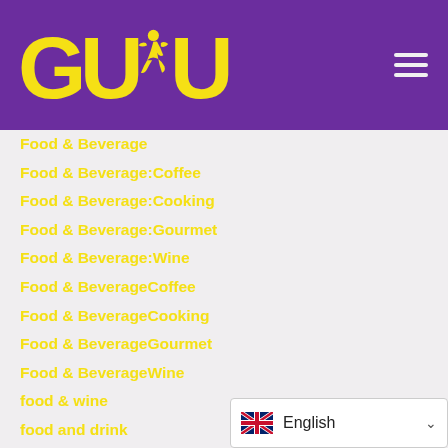[Figure (logo): GUDU logo with yellow text and runner silhouette on purple background, with hamburger menu icon on the right]
Food & Beverage
Food & Beverage:Coffee
Food & Beverage:Cooking
Food & Beverage:Gourmet
Food & Beverage:Wine
Food & BeverageCoffee
Food & BeverageCooking
Food & BeverageGourmet
Food & BeverageWine
food & wine
food and drink
football
football fans
[Figure (screenshot): Language selector widget showing UK flag and 'English' text with dropdown chevron]